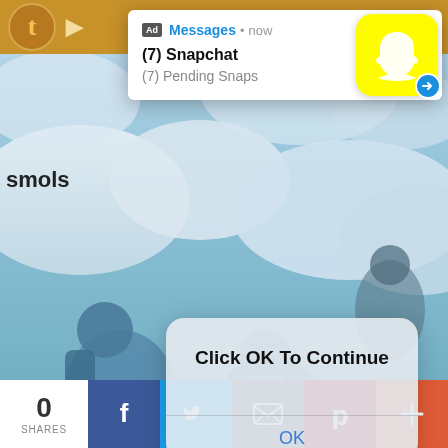[Figure (screenshot): Background illustration showing animated characters in a wintry cloudy sky scene]
[Figure (screenshot): Mobile-style push notification ad overlay showing Snapchat message: (7) Snapchat, (7) Pending Snaps, with Snapchat yellow ghost logo icon and blue badge, close X button, Ad label, Messages • now header]
(7) Snapchat
(7) Pending Snaps
[Figure (screenshot): Frosted glass iOS-style dialog box with bold text 'Click OK To Continue' and blue 'OK' button]
Click OK To Continue
OK
[Figure (infographic): Social share bar at bottom with share count 0 SHARES, Facebook, Twitter, Email, Pinterest, and plus buttons]